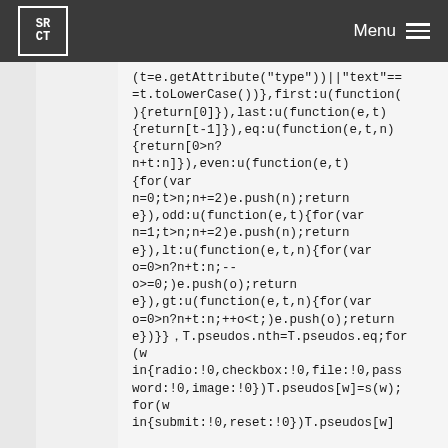SRCT Menu
(t=e.getAttribute("type"))||"text"==
=t.toLowerCase())},first:u(function(
){return[0]}),last:u(function(e,t)
{return[t-1]}),eq:u(function(e,t,n)
{return[0>n?
n+t:n]}),even:u(function(e,t)
{for(var
n=0;t>n;n+=2)e.push(n);return
e}),odd:u(function(e,t){for(var
n=1;t>n;n+=2)e.push(n);return
e}),lt:u(function(e,t,n){for(var
o=0>n?n+t:n;--
o>=0;)e.push(o);return
e}),gt:u(function(e,t,n){for(var
o=0>n?n+t:n;++o<t;)e.push(o);return
e})}}，T.pseudos.nth=T.pseudos.eq;for
(w
in{radio:!0,checkbox:!0,file:!0,pass
word:!0,image:!0})T.pseudos[w]=s(w);
for(w
in{submit:!0,reset:!0})T.pseudos[w]